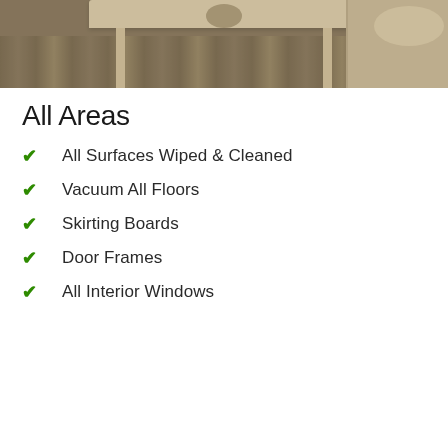[Figure (photo): Interior living room scene showing a light wood coffee table with a decorative item on top, hardwood flooring, and part of a beige sofa on the right side.]
All Areas
All Surfaces Wiped & Cleaned
Vacuum All Floors
Skirting Boards
Door Frames
All Interior Windows